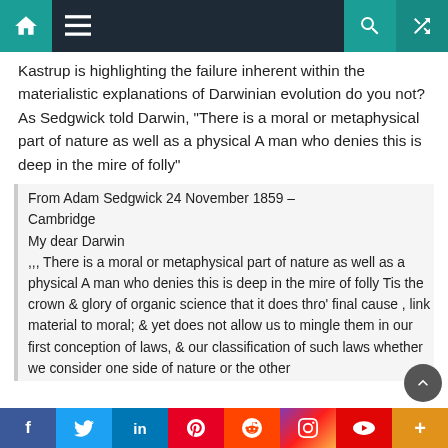Navigation bar with home, menu, search, shuffle icons
Kastrup is highlighting the failure inherent within the materialistic explanations of Darwinian evolution do you not? As Sedgwick told Darwin, “There is a moral or metaphysical part of nature as well as a physical A man who denies this is deep in the mire of folly”
From Adam Sedgwick 24 November 1859 – Cambridge
My dear Darwin
,,, There is a moral or metaphysical part of nature as well as a physical A man who denies this is deep in the mire of folly Tis the crown & glory of organic science that it does thro’ final cause , link material to moral; & yet does not allow us to mingle them in our first conception of laws, & our classification of such laws whether we consider one side of nature or the other
f  Twitter  in  Pinterest  Reddit  Instagram  Flipboard  More